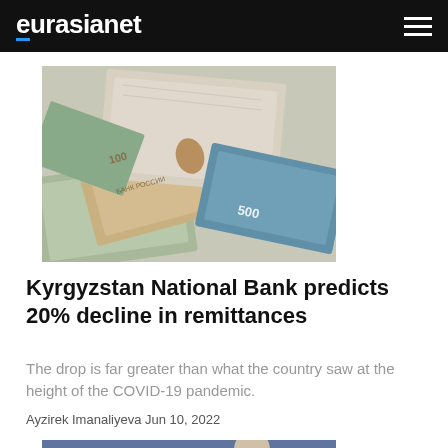eurasianet
[Figure (photo): Scattered Russian ruble banknotes spread across a surface, various denominations visible]
Kyrgyzstan National Bank predicts 20% decline in remittances
The drop is far greater than what the country saw at the height of the COVID-19 pandemic.
Ayzirek Imanaliyeva Jun 10, 2022
[Figure (photo): Person standing in front of a rainbow mural with a bird]